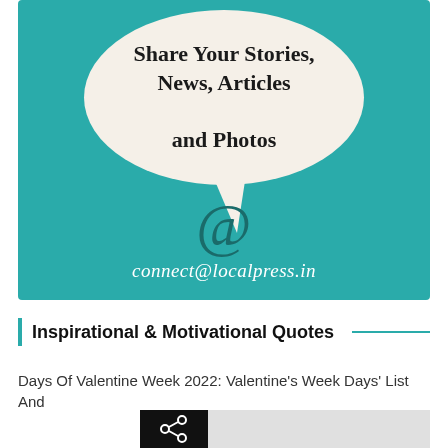[Figure (infographic): Teal/turquoise background banner with a speech bubble containing bold text 'Share Your Stories, News, Articles and Photos', an @ symbol below the bubble, and the email address 'connect@localpress.in' at the bottom of the banner.]
Inspirational & Motivational Quotes
Days Of Valentine Week 2022: Valentine's Week Days' List And
[Figure (screenshot): Share icon (white share symbol on black background) with a grey strip to the right, partially visible at the bottom of the page.]